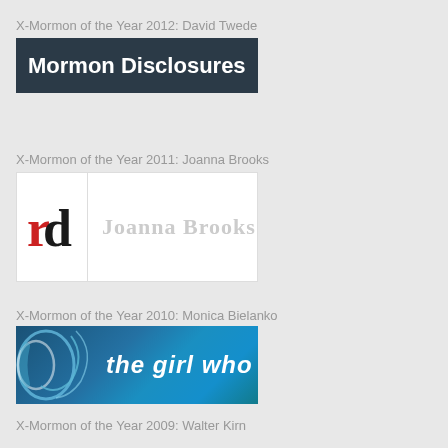X-Mormon of the Year 2012: David Twede
[Figure (logo): Mormon Disclosures banner with dark blue-grey background and white bold text]
X-Mormon of the Year 2011: Joanna Brooks
[Figure (logo): Joanna Brooks logo with 'rd' monogram in red and black on white background with grey text 'Joanna Brooks']
X-Mormon of the Year 2010: Monica Bielanko
[Figure (logo): The girl who banner with blue swirling design and white bold text]
X-Mormon of the Year 2009: Walter Kirn